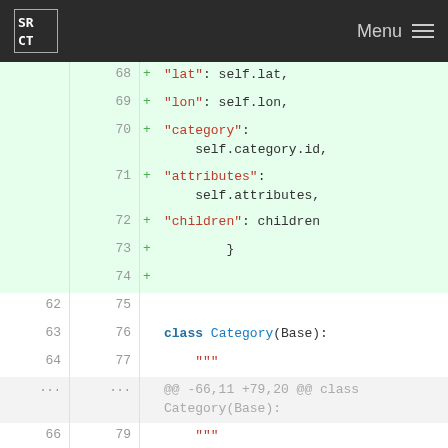SRCT Menu
[Figure (screenshot): Code diff view showing Python code with line numbers. Added lines (green background) show JSON serialization fields (lat, lon, category, attributes, children) and a new Category SQLAlchemy model class definition with id column.]